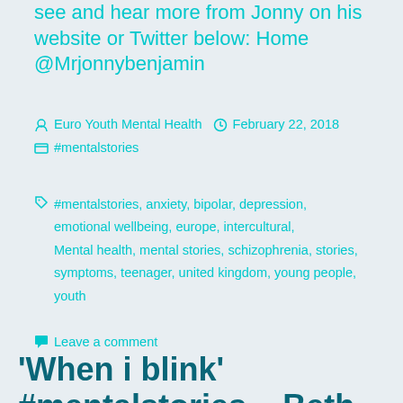see and hear more from Jonny on his website or Twitter below: Home @Mrjonnybenjamin
Euro Youth Mental Health   February 22, 2018
#mentalstories
#mentalstories, anxiety, bipolar, depression, emotional wellbeing, europe, intercultural, Mental health, mental stories, schizophrenia, stories, symptoms, teenager, united kingdom, young people, youth
Leave a comment
'When i blink' #mentalstories – Beth